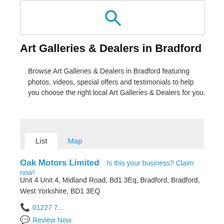[Figure (screenshot): Search box with blue magnifying glass icon]
Art Galleries & Dealers in Bradford
Browse Art Galleries & Dealers in Bradford featuring photos, videos, special offers and testimonials to help you choose the right local Art Galleries & Dealers for you.
List  Map
Oak Motors Limited  Is this your business? Claim now!
Unit 4 Unit 4, Midland Road, Bd1 3Eq, Bradford, Bradford, West Yorkshire, BD1 3EQ
01227 7...
Review Now